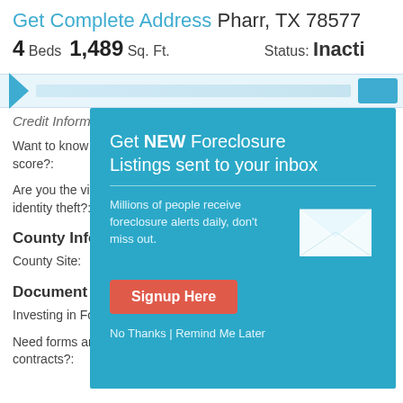Get Complete Address Pharr, TX 78577
4 Beds 1,489 Sq. Ft. Status: Inactive
[Figure (screenshot): Blue navigation toolbar strip with triangle icon, search bar, and blue button]
Credit Information Center
Want to know your FICO score?:
Click here
Are you the victim of identity theft?:
County Information
County Site:
Document Center
Investing in Foreclosure
Need forms and contracts?:
Download documents
[Figure (screenshot): Modal popup with teal background: 'Get NEW Foreclosure Listings sent to your inbox'. Includes description text 'Millions of people receive foreclosure alerts daily, don't miss out.', envelope icon, red 'Signup Here' button, and 'No Thanks | Remind Me Later' links.]